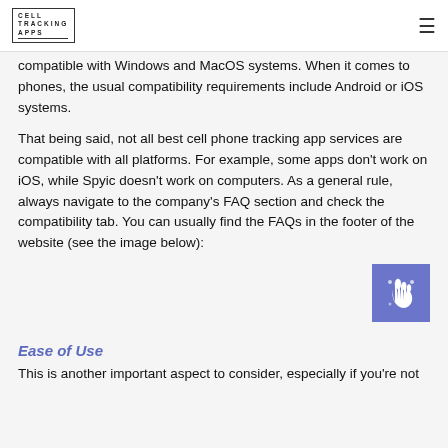CELL TRACKING APPS
compatible with Windows and MacOS systems. When it comes to phones, the usual compatibility requirements include Android or iOS systems.
That being said, not all best cell phone tracking app services are compatible with all platforms. For example, some apps don't work on iOS, while Spyic doesn't work on computers. As a general rule, always navigate to the company's FAQ section and check the compatibility tab. You can usually find the FAQs in the footer of the website (see the image below):
[Figure (illustration): Purple/blue square icon with a hand pointer/touch gesture icon in white]
Ease of Use
This is another important aspect to consider, especially if you're not